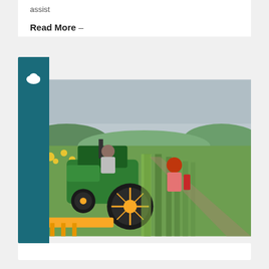assist
Read More –
[Figure (photo): A green John Deere tractor with yellow wheels operating in a lush green agricultural field. A farmer in a hat is driving the tractor while another person wearing an orange hat stands behind it. Yellow wildflowers and green crops are visible. Hilly landscape in the background under a cloudy sky. A teal sidebar with a cloud icon is on the left.]